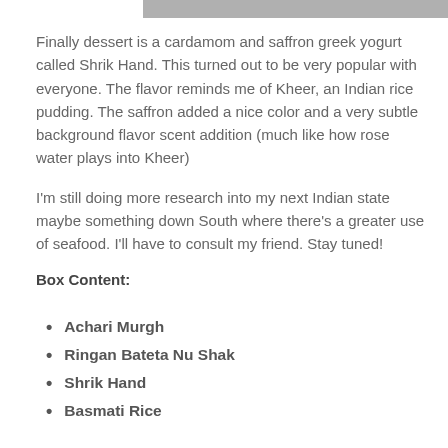[Figure (photo): Partial image strip at top of page showing a food photograph (cropped).]
Finally dessert is a cardamom and saffron greek yogurt called Shrik Hand. This turned out to be very popular with everyone. The flavor reminds me of Kheer, an Indian rice pudding. The saffron added a nice color and a very subtle background flavor scent addition (much like how rose water plays into Kheer)
I'm still doing more research into my next Indian state maybe something down South where there's a greater use of seafood. I'll have to consult my friend. Stay tuned!
Box Content:
Achari Murgh
Ringan Bateta Nu Shak
Shrik Hand
Basmati Rice